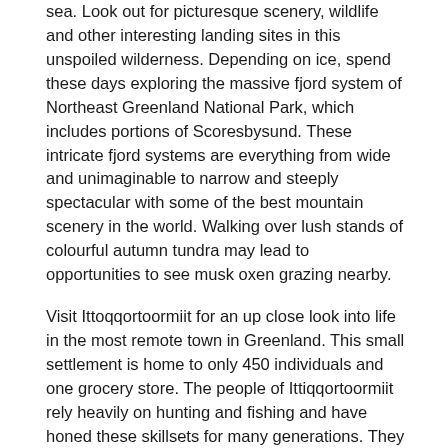sea. Look out for picturesque scenery, wildlife and other interesting landing sites in this unspoiled wilderness. Depending on ice, spend these days exploring the massive fjord system of Northeast Greenland National Park, which includes portions of Scoresbysund. These intricate fjord systems are everything from wide and unimaginable to narrow and steeply spectacular with some of the best mountain scenery in the world. Walking over lush stands of colourful autumn tundra may lead to opportunities to see musk oxen grazing nearby.
Visit Ittoqqortoormiit for an up close look into life in the most remote town in Greenland. This small settlement is home to only 450 individuals and one grocery store. The people of Ittiqqortoormiit rely heavily on hunting and fishing and have honed these skillsets for many generations. They enjoy spending warmer weather on dog sleds, snowmobile trips, or camping excursions. With the closest inhabited settlement hundreds of miles away across some of the most unforgivable terrain in the world, the warmth and sense of community fostered by the people of Ittiqqortoormiit act as a beacon in the Arctic.
Day 10 Northeast Greenland National Park
Sail through and land in some of the most spectacular fjord scenery in the world, home to the coast of Greenland, while...